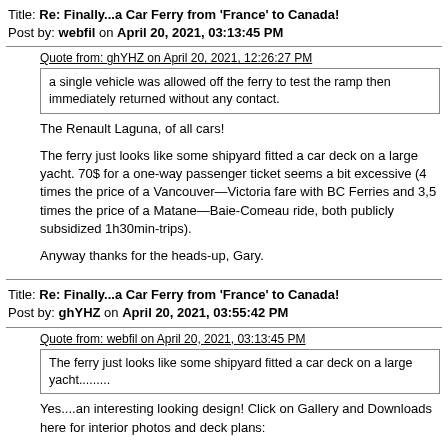Title: Re: Finally...a Car Ferry from 'France' to Canada!
Post by: webfil on April 20, 2021, 03:13:45 PM
Quote from: ghYHZ on April 20, 2021, 12:26:27 PM
a single vehicle was allowed off the ferry to test the ramp then immediately returned without any contact.
The Renault Laguna, of all cars!
The ferry just looks like some shipyard fitted a car deck on a large yacht. 70$ for a one-way passenger ticket seems a bit excessive (4 times the price of a Vancouver—Victoria fare with BC Ferries and 3,5 times the price of a Matane—Baie-Comeau ride, both publicly subsidized 1h30min-trips).
Anyway thanks for the heads-up, Gary.
Title: Re: Finally...a Car Ferry from 'France' to Canada!
Post by: ghYHZ on April 20, 2021, 03:55:42 PM
Quote from: webfil on April 20, 2021, 03:13:45 PM
The ferry just looks like some shipyard fitted a car deck on a large yacht.........
Yes....an interesting looking design! Click on Gallery and Downloads here for interior photos and deck plans:
https://products.damen.com/en/ranges/fast-ropax-ferry/fast-ropax-ferry-5510